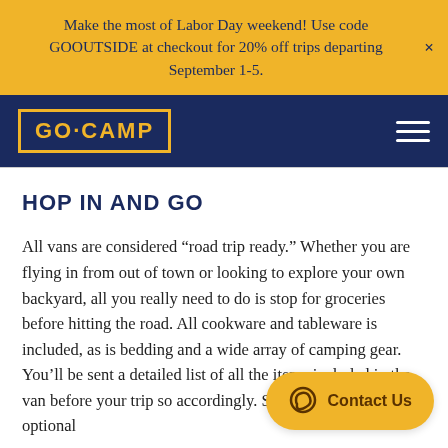Make the most of Labor Day weekend! Use code GOOUTSIDE at checkout for 20% off trips departing September 1-5.
[Figure (logo): GO·CAMP logo in yellow text with yellow border on navy background, with hamburger menu icon on right]
HOP IN AND GO
All vans are considered “road trip ready.” Whether you are flying in from out of town or looking to explore your own backyard, all you really need to do is stop for groceries before hitting the road. All cookware and tableware is included, as is bedding and a wide array of camping gear. You’ll be sent a detailed list of all the items included in the van before your trip so accordingly. Select any of the optional